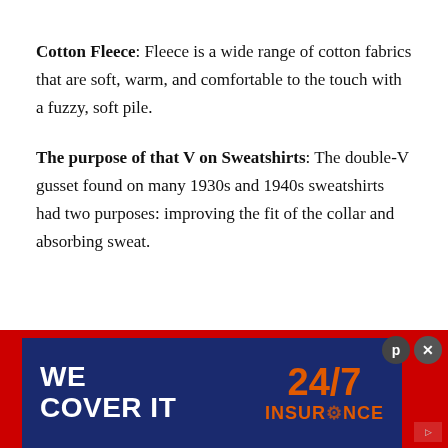Cotton Fleece: Fleece is a wide range of cotton fabrics that are soft, warm, and comfortable to the touch with a fuzzy, soft pile.
The purpose of that V on Sweatshirts: The double-V gusset found on many 1930s and 1940s sweatshirts had two purposes: improving the fit of the collar and absorbing sweat.
[Figure (other): Advertisement banner with dark blue background showing 'WE COVER IT' in white bold text on left, and '24/7 INSURANCE' in orange on right, with red background strip.]